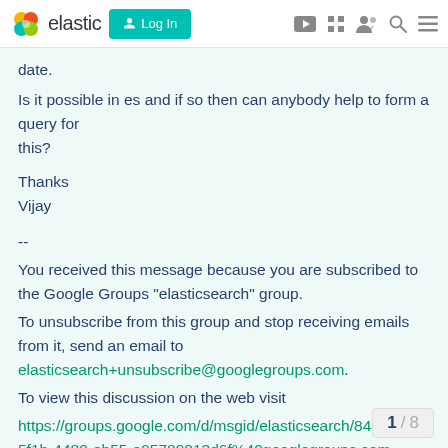elastic | Log In
date.
Is it possible in es and if so then can anybody help to form a query for
this?
Thanks
Vijay
--
You received this message because you are subscribed to the Google Groups "elasticsearch" group.
To unsubscribe from this group and stop receiving emails from it, send an email to elasticsearch+unsubscribe@googlegroups.com.
To view this discussion on the web visit https://groups.google.com/d/msgid/elasticsearch/84a9e732-5f1b-4480-ab55-e95789813d6f%40googlegroups.com.
For more options, visit https://groups.goog